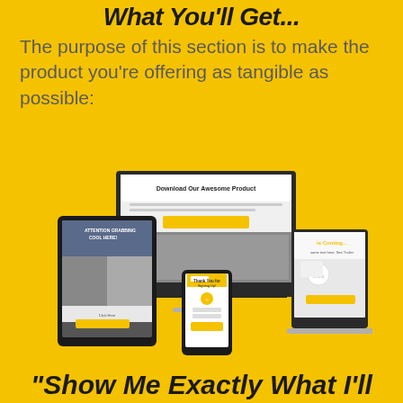What You'll Get...
The purpose of this section is to make the product you're offering as tangible as possible:
[Figure (illustration): Mock-up image showing multiple screens (desktop monitor, tablet, phone) displaying landing pages and product pages with yellow/black color scheme including 'Download Our Awesome Product' headline and 'Something is Coming...' countdown page]
"Show Me Exactly What I'll